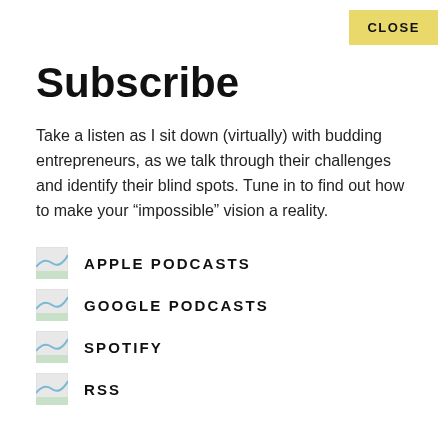CLOSE
Subscribe
Take a listen as I sit down (virtually) with budding entrepreneurs, as we talk through their challenges and identify their blind spots. Tune in to find out how to make your “impossible” vision a reality.
APPLE PODCASTS
GOOGLE PODCASTS
SPOTIFY
RSS